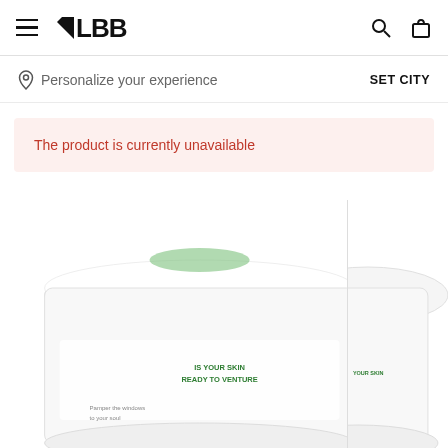≡ LBB [search] [bag]
📍 Personalize your experience    SET CITY
The product is currently unavailable
[Figure (photo): Two skincare product containers (white jars/tubes) partially visible, with green text visible on the labels reading 'IS YOUR SKIN READY TO VENTURE' and 'Pamper the windows to your soul']